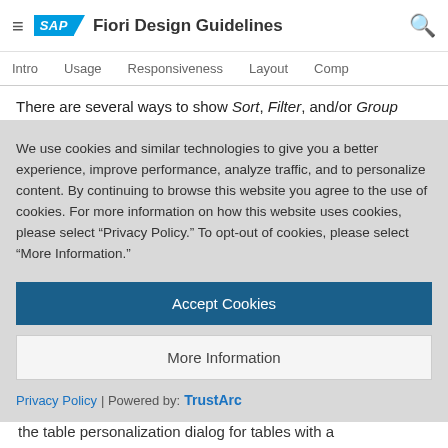SAP Fiori Design Guidelines
Intro   Usage   Responsiveness   Layout   Comp
There are several ways to show Sort, Filter, and/or Group settings:
Column header menu: In all cases, show the corresponding settings in the column header menu.
We use cookies and similar technologies to give you a better experience, improve performance, analyze traffic, and to personalize content. By continuing to browse this website you agree to the use of cookies. For more information on how this website uses cookies, please select “Privacy Policy.” To opt-out of cookies, please select “More Information.”
Accept Cookies
More Information
Privacy Policy | Powered by: TrustArc
the table personalization dialog for tables with a